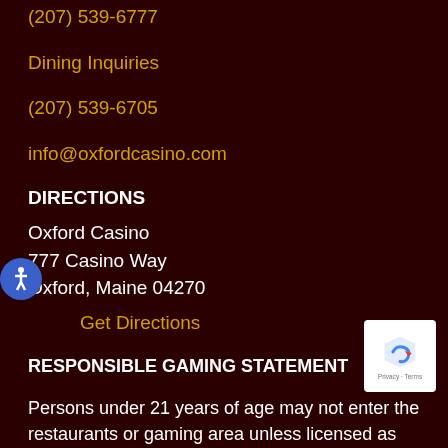(207) 539-6777
Dining Inquiries
(207) 539-6705
info@oxfordcasino.com
DIRECTIONS
Oxford Casino
777 Casino Way
Oxford, Maine 04270
Get Directions
RESPONSIBLE GAMING STATEMENT
Persons under 21 years of age may not enter the restaurants or gaming area unless licensed as employees. Gambling problem? In Maine, call 2-1-1 for help.
Learn More